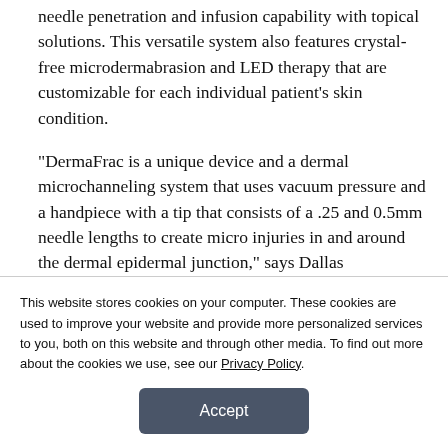needle penetration and infusion capability with topical solutions. This versatile system also features crystal-free microdermabrasion and LED therapy that are customizable for each individual patient's skin condition.
“DermaFrac is a unique device and a dermal microchanneling system that uses vacuum pressure and a handpiece with a tip that consists of a .25 and 0.5mm needle lengths to create micro injuries in and around the dermal epidermal junction,” says Dallas dermatologist Martin Kassir, MD. “We also have four different kinds of infusion material that are
This website stores cookies on your computer. These cookies are used to improve your website and provide more personalized services to you, both on this website and through other media. To find out more about the cookies we use, see our Privacy Policy.